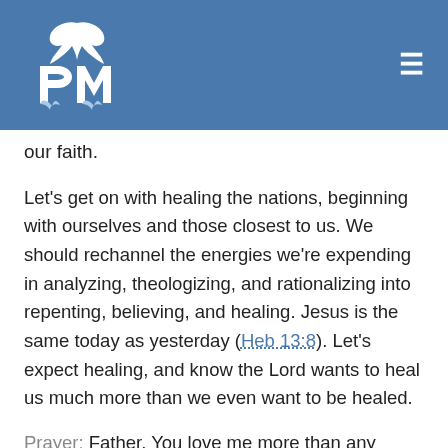PM logo and navigation menu
our faith.
Let's get on with healing the nations, beginning with ourselves and those closest to us. We should rechannel the energies we're expending in analyzing, theologizing, and rationalizing into repenting, believing, and healing. Jesus is the same today as yesterday (Heb 13:8). Let's expect healing, and know the Lord wants to heal us much more than we even want to be healed.
Prayer:  Father, You love me more than any parent ever loved a child and You do not want